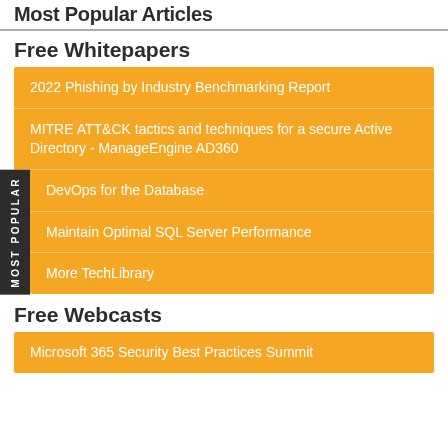Most Popular Articles
Free Whitepapers
2022 Phishing by Industry Benchmarking Report
MITRE ATT&CK tactics and techniques for a secure Active Directory - ManageEngine AD360
DevOps for the Database
Maintain Optimal SQL Server Performance
More TechLibrary
Free Webcasts
Microsoft 365 Security Best Practices Summit